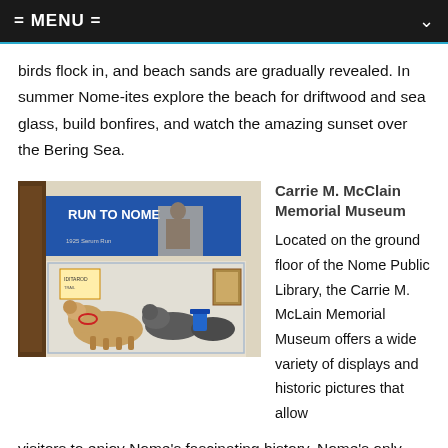= MENU =
birds flock in, and beach sands are gradually revealed. In summer Nome-ites explore the beach for driftwood and sea glass, build bonfires, and watch the amazing sunset over the Bering Sea.
[Figure (photo): Museum exhibit showing a 'Run to Nome' display with a sled dog and musher poster, husky dogs in foreground inside a glass case]
Carrie M. McClain Memorial Museum
Located on the ground floor of the Nome Public Library, the Carrie M. McLain Memorial Museum offers a wide variety of displays and historic pictures that allow visitors to enjoy Nome's fascinating history. Nome's only museum showcases the history of the Nome Gold rush from the